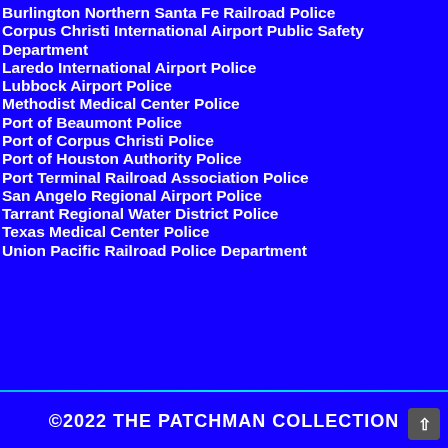Burlington Northern Santa Fe Railroad Police
Corpus Christi International Airport Public Safety Department
Laredo International Airport Police
Lubbock Airport Police
Methodist Medical Center Police
Port of Beaumont Police
Port of Corpus Christi Police
Port of Houston Authority Police
Port Terminal Railroad Association Police
San Angelo Regional Airport Police
Tarrant Regional Water District Police
Texas Medical Center Police
Union Pacific Railroad Police Department
©2022 THE PATCHMAN COLLECTION